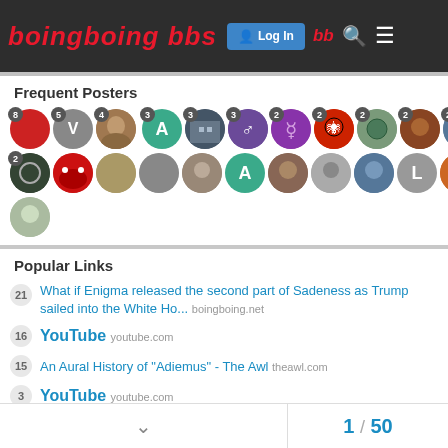BoingBoing BBS — Log In
Frequent Posters
[Figure (illustration): Grid of user avatar circles with post count badges. Row 1: red circle (8), gray circle with V (5), photo avatar (4), gap, teal circle A (3), gray building photo (3), purple figure (3), prince symbol (3), spider avatar (2), tentacle art (2), monkey photo (2), photo (2). Row 2: patterned circle (2), open mouth art, pirate avatar, mechanical avatar, photo avatar, teal A circle, bearded man photo, mustache man photo, wally avatar, L circle, orange face photo. Row 3: goat avatar.]
Popular Links
21 What if Enigma released the second part of Sadeness as Trump sailed into the White Ho... boingboing.net
16 YouTube youtube.com
15 An Aural History of "Adiemus" - The Awl theawl.com
3 YouTube youtube.com
2 An Unlikely Union Between an '80s Rock Star and a Folk Choir Blossoms in Bulgaria - T... nytimes.com
1 / 50